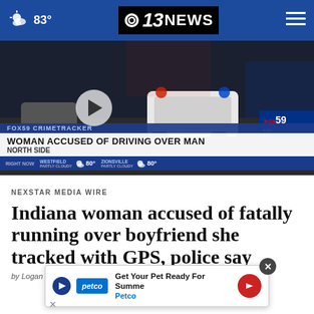83° | CBS 13 NEWS
[Figure (screenshot): News video thumbnail showing police cars at night scene with lower-third graphic: 'FOX59 CRIMETRACKER / WOMAN ACCUSED OF DRIVING OVER MAN / NORTH SIDE', weather ticker showing Westfield 80° partly cloudy, Zionsville 80° partly cloudy]
NEXSTAR MEDIA WIRE
Indiana woman accused of fatally running over boyfriend she tracked with GPS, police say
by Logan Wells, Nexstar Media Wire
[Figure (other): Petco advertisement: 'Get Your Pet Ready For Summer - Petco' with play button, petco logo, and red arrow button]